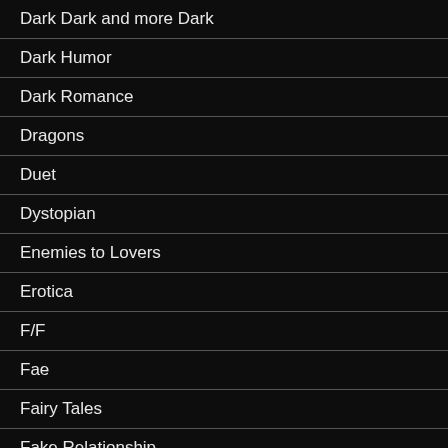Dark Dark and more Dark
Dark Humor
Dark Romance
Dragons
Duet
Dystopian
Enemies to Lovers
Erotica
F/F
Fae
Fairy Tales
Fake Relationship
Family Orientated